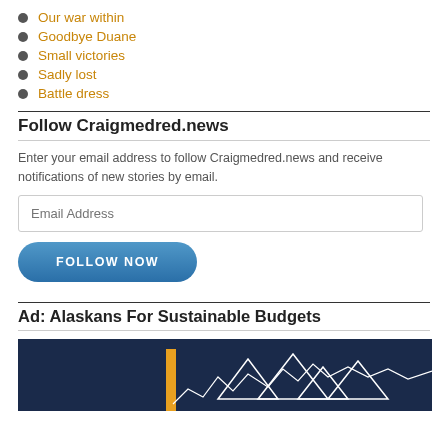Our war within
Goodbye Duane
Small victories
Sadly lost
Battle dress
Follow Craigmedred.news
Enter your email address to follow Craigmedred.news and receive notifications of new stories by email.
Ad: Alaskans For Sustainable Budgets
[Figure (illustration): Dark navy blue banner image with white mountain silhouette and a yellow/orange vertical bar element, partial view]